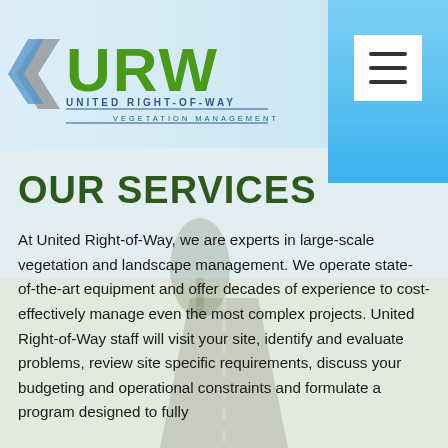[Figure (logo): URW United Right-of-Way Vegetation Management logo with gray arrow and green URW lettering]
[Figure (illustration): Hamburger menu icon (three horizontal lines) in a white box on a blue gradient background]
[Figure (photo): Background photo of a road with sky and vegetation, semi-transparent]
OUR SERVICES
At United Right-of-Way, we are experts in large-scale vegetation and landscape management. We operate state-of-the-art equipment and offer decades of experience to cost-effectively manage even the most complex projects. United Right-of-Way staff will visit your site, identify and evaluate problems, review site specific requirements, discuss your budgeting and operational constraints and formulate a program designed to fully